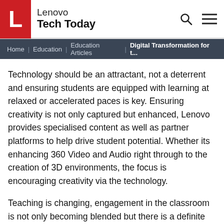Lenovo Tech Today
Home | Education | Education Articles | Digital Transformation for t...
Technology should be an attractant, not a deterrent and ensuring students are equipped with learning at relaxed or accelerated paces is key. Ensuring creativity is not only captured but enhanced, Lenovo provides specialised content as well as partner platforms to help drive student potential. Whether its enhancing 360 Video and Audio right through to the creation of 3D environments, the focus is encouraging creativity via the technology.
Teaching is changing, engagement in the classroom is not only becoming blended but there is a definite requirement for transformation as industry and the working force demands it.
See how VR can be used to demonstrate dangerous